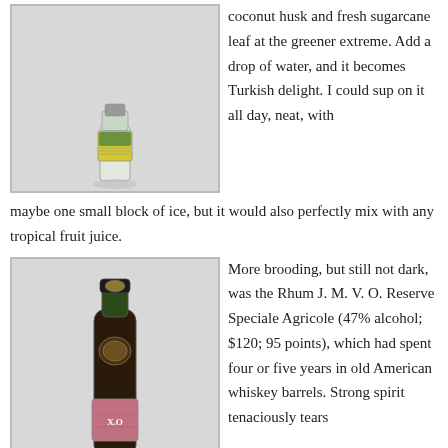[Figure (photo): A glass bottle with a green and yellow label, photographed on a light grey background.]
coconut husk and fresh sugarcane leaf at the greener extreme. Add a drop of water, and it becomes Turkish delight. I could sup on it all day, neat, with maybe one small block of ice, but it would also perfectly mix with any tropical fruit juice.
[Figure (photo): A dark bottle of Rhum J. M. V. O. Reserve Speciale Agricole XO with a green glass body, black cap, and a pink/red label, photographed on a light grey background.]
More brooding, but still not dark, was the Rhum J. M. V. O. Reserve Speciale Agricole (47% alcohol; $120; 95 points), which had spent four or five years in old American whiskey barrels. Strong spirit tenaciously tears